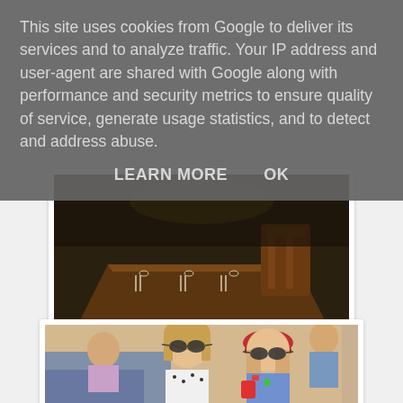This site uses cookies from Google to deliver its services and to analyze traffic. Your IP address and user-agent are shared with Google along with performance and security metrics to ensure quality of service, generate usage statistics, and to detect and address abuse.
LEARN MORE   OK
[Figure (photo): Photo of a restaurant interior showing a wooden dining table set with cutlery and glasses, with chairs around it, in a dimly lit environment.]
[Figure (photo): Photo of two smiling young women wearing sunglasses posing together indoors; one wears a red hat. Other people visible in the background.]